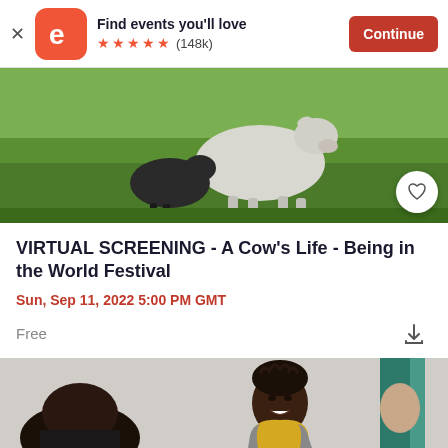[Figure (screenshot): Eventbrite app banner with logo, 'Find events you'll love' text, 5 orange stars, (148k) reviews, and orange 'Continue' button]
[Figure (photo): Photo of a white/grey cow standing in a green field with another dark cow partially visible in the background]
VIRTUAL SCREENING - A Cow's Life - Being in the World Festival
Sun, Sep 11, 2022 5:00 PM GMT
Free
[Figure (photo): Photo of a smiling young Black girl with braids wearing a yellow sleeveless top, partially visible boy in foreground]